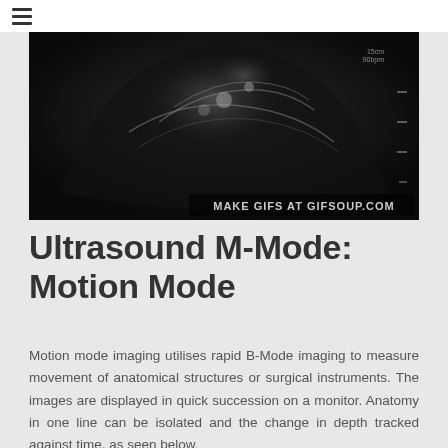≡
[Figure (photo): Ultrasound scan image in black and white showing an anatomical structure, with watermark text 'MAKE GIFS AT GIFSOUP.COM' at the bottom right]
Ultrasound M-Mode: Motion Mode
Motion mode imaging utilises rapid B-Mode imaging to measure movement of anatomical structures or surgical instruments. The images are displayed in quick succession on a monitor. Anatomy in one line can be isolated and the change in depth tracked against time, as seen below.